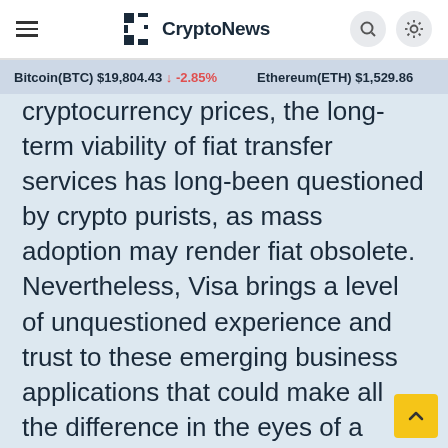CryptoNews
Bitcoin(BTC) $19,804.43 ↓ -2.85%   Ethereum(ETH) $1,529.86
cryptocurrency prices, the long-term viability of fiat transfer services has long-been questioned by crypto purists, as mass adoption may render fiat obsolete. Nevertheless, Visa brings a level of unquestioned experience and trust to these emerging business applications that could make all the difference in the eyes of a skeptical public.
There is thus the very real fact that